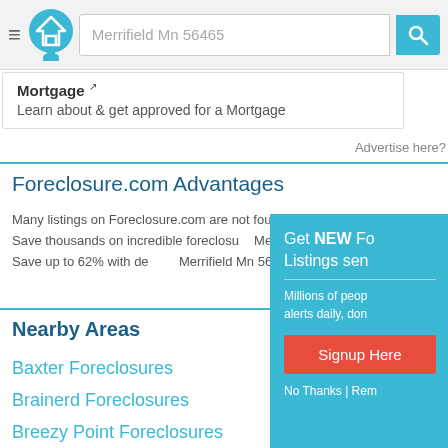Merrifield Mn 56465 — search header with logo and search box
Mortgage — Learn about & get approved for a Mortgage
Advertise here?
Foreclosure.com Advantages
Many listings on Foreclosure.com are not found anywhere else. Save thousands on incredible foreclosure deals in Merrifield Mn 56465. Save up to 62% with deals in Merrifield Mn 56465.
Nearby Areas
Baxter Foreclosures
Brainerd Foreclosures
Breezy Point Foreclosures
[Figure (screenshot): Popup overlay with teal background: 'Get NEW Fo... Listings sen...' title, body text 'Millions of peop... alerts daily, don...', red 'Signup Here' button, and 'No Thanks | Rem...' footer link]